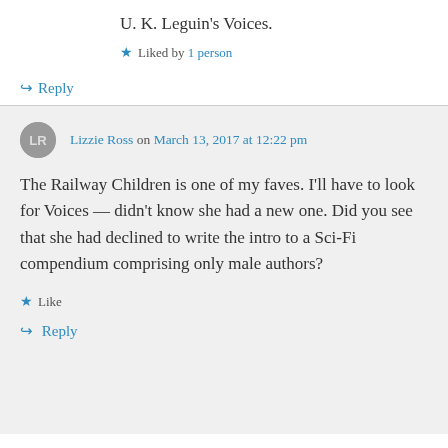U. K. Leguin's Voices.
Liked by 1 person
Reply
Lizzie Ross on March 13, 2017 at 12:22 pm
The Railway Children is one of my faves. I'll have to look for Voices — didn't know she had a new one. Did you see that she had declined to write the intro to a Sci-Fi compendium comprising only male authors?
Like
Reply